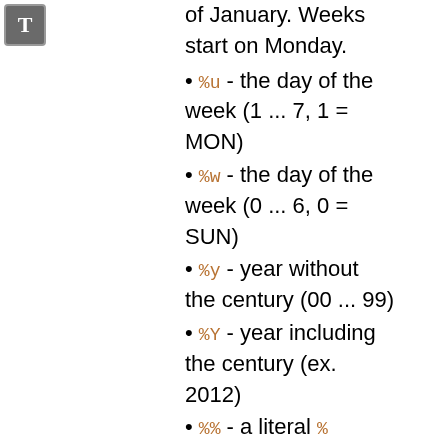[Figure (other): Gray icon with white letter T]
of January. Weeks start on Monday.
%u - the day of the week (1 ... 7, 1 = MON)
%w - the day of the week (0 ... 6, 0 = SUN)
%y - year without the century (00 ... 99)
%Y - year including the century (ex. 2012)
%% - a literal % character